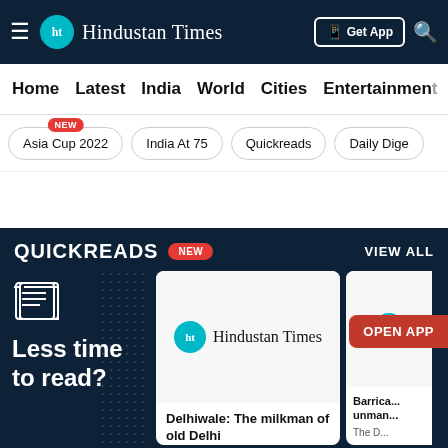Hindustan Times - Get App
Home  Latest  India  World  Cities  Entertainment
Asia Cup 2022 NEW
India At 75
Quickreads
Daily Dige...
QUICKREADS NEW  VIEW ALL
Less time to read?
[Figure (screenshot): Hindustan Times logo card with headline: Delhiwale: The milkman of old Delhi. Subtext: The low flame under the giant...]
Delhiwale: The milkman of old Delhi
The low flame under the giant
[Figure (screenshot): Partial Hindustan Times card with headline: Barrica... unman...]
Barrica... unman...
The D...
OPEN APP